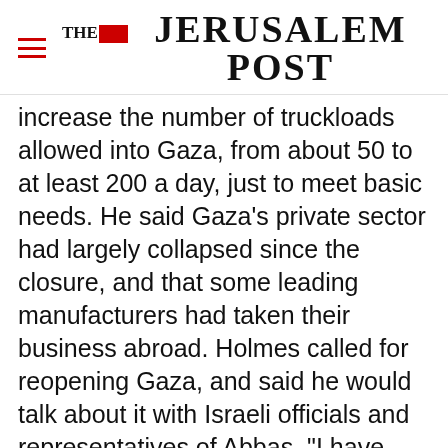THE JERUSALEM POST
increase the number of truckloads allowed into Gaza, from about 50 to at least 200 a day, just to meet basic needs. He said Gaza's private sector had largely collapsed since the closure, and that some leading manufacturers had taken their business abroad. Holmes called for reopening Gaza, and said he would talk about it with Israeli officials and representatives of Abbas. "I have been shocked by the grim and miserable things I have seen and heard about during the day," he
Advertisement